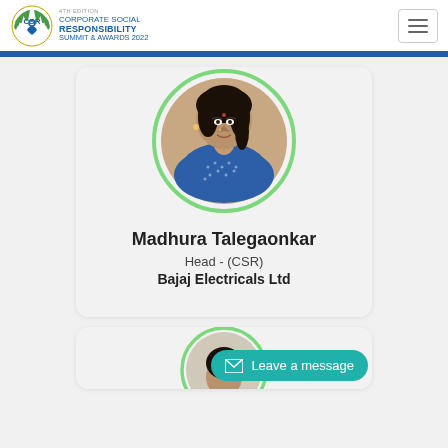[Figure (logo): CSR Summit logo with laurel wreath and text: 4th Edition Corporate Social Responsibility Summit & Awards 2022]
[Figure (photo): Portrait photo of Madhura Talegaonkar in a blue saree, displayed in a circular frame with green border]
Madhura Talegaonkar
Head - (CSR)
Bajaj Electricals Ltd
[Figure (photo): Partial view of another speaker profile card at the bottom, with a Leave a message teal button overlay]